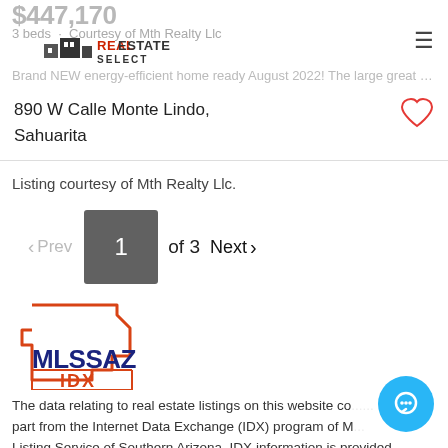$447,170 · 3 beds · Courtesy of Mth Realty Llc
Brand NEW energy-efficient home ready August 2022! The large great room is ...
890 W Calle Monte Lindo,
Sahuarita
Listing courtesy of Mth Realty Llc.
< Prev  1 of 3  Next >
[Figure (logo): MLSSAZ IDX logo with Arizona state outline in red/orange]
The data relating to real estate listings on this website co... part from the Internet Data Exchange (IDX) program of M... Listing Service of Southern Arizona. IDX information is provided exclusively for consumers' personal, non-commercial use and may